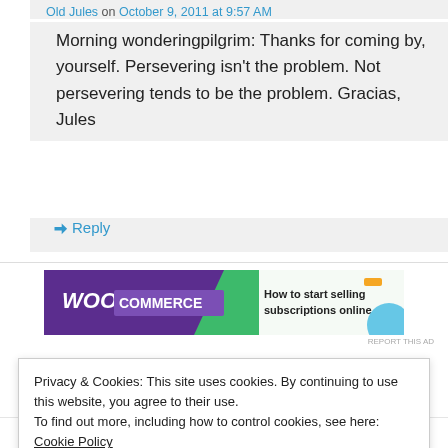Old Jules on October 9, 2011 at 9:57 AM
Morning wonderingpilgrim: Thanks for coming by, yourself. Persevering isn't the problem. Not persevering tends to be the problem. Gracias, Jules
↳ Reply
[Figure (infographic): WooCommerce advertisement banner: 'How to start selling subscriptions online']
REPORT THIS AD
Privacy & Cookies: This site uses cookies. By continuing to use this website, you agree to their use.
To find out more, including how to control cookies, see here: Cookie Policy
Close and accept
In my native language its called "Barkat" — A